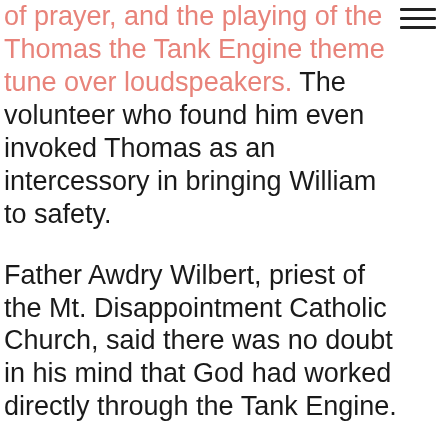of prayer, and the playing of the Thomas the Tank Engine theme tune over loudspeakers. The volunteer who found him even invoked Thomas as an intercessory in bringing William to safety.
Father Awdry Wilbert, priest of the Mt. Disappointment Catholic Church, said there was no doubt in his mind that God had worked directly through the Tank Engine.
“There is a story in Scripture where the Lord opens the mouth of Balaam’s donkey to direct the paths of his chosen. Clearly God, in his mercy, has decided to do the